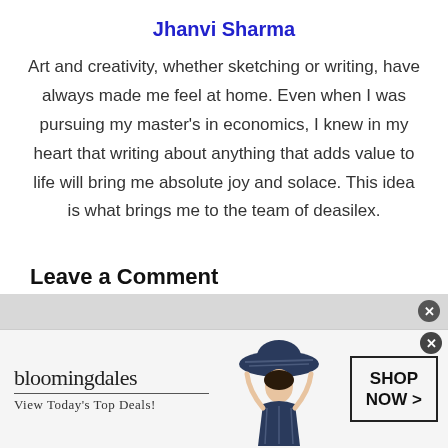Jhanvi Sharma
Art and creativity, whether sketching or writing, have always made me feel at home. Even when I was pursuing my master’s in economics, I knew in my heart that writing about anything that adds value to life will bring me absolute joy and solace. This idea is what brings me to the team of deasilex.
Leave a Comment
[Figure (infographic): Bloomingdale’s advertisement banner with logo text ‘bloomingdales’, tagline ‘View Today’s Top Deals!’, a woman wearing a wide-brim hat, and a SHOP NOW > button]